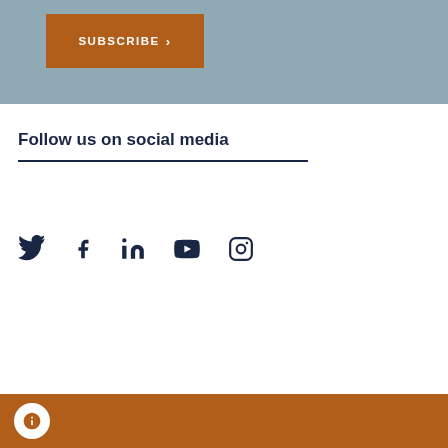[Figure (other): Blue-grey banner background with orange SUBSCRIBE button containing right-arrow]
Follow us on social media
[Figure (other): Social media icons: Twitter, Facebook, LinkedIn, YouTube, Instagram in dark navy]
Orange footer bar with info icon circle